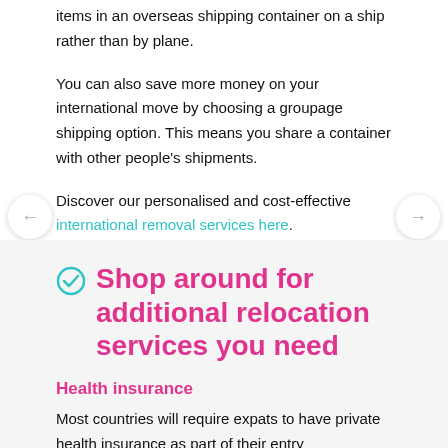items in an overseas shipping container on a ship rather than by plane.
You can also save more money on your international move by choosing a groupage shipping option. This means you share a container with other people's shipments.
Discover our personalised and cost-effective international removal services here.
Shop around for additional relocation services you need
Health insurance
Most countries will require expats to have private health insurance as part of their entry requirements so shop